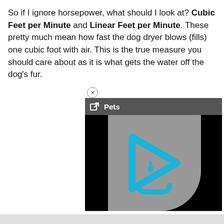So if I ignore horsepower, what should I look at? Cubic Feet per Minute and Linear Feet per Minute. These pretty much mean how fast the dog dryer blows (fills) one cubic foot with air. This is the true measure you should care about as it is what gets the water off the dog's fur.
[Figure (screenshot): Video player widget with a dark gray header bar showing a link/external icon and the label 'Pets', and a video thumbnail area with a cyan/teal play button logo on a gray background flanked by black bars.]